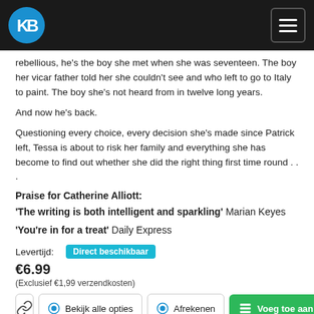KB logo and navigation bar
rebellious, he's the boy she met when she was seventeen. The boy her vicar father told her she couldn't see and who left to go to Italy to paint. The boy she's not heard from in twelve long years.
And now he's back.
Questioning every choice, every decision she's made since Patrick left, Tessa is about to risk her family and everything she has become to find out whether she did the right thing first time round . . .
Praise for Catherine Alliott:
'The writing is both intelligent and sparkling' Marian Keyes
'You're in for a treat' Daily Express
Levertijd: Direct beschikbaar
€6.99
(Exclusief €1,99 verzendkosten)
Bekijk alle opties  Afrekenen  Voeg toe aan lijst